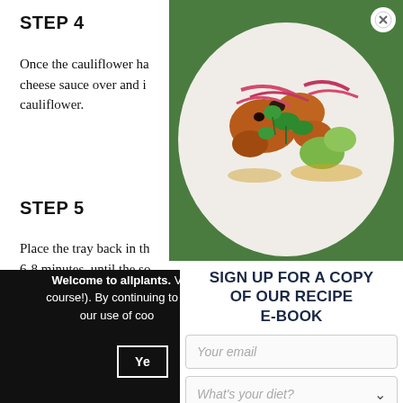STEP 4
Once the cauliflower ha... cheese sauce over and i... cauliflower.
STEP 5
Place the tray back in th... 6-8 minutes, until the so... when you (lightly) shake... parsley and chives. Serv...
Welcome to allplants. W... course!). By continuing to b... our use of coo...
[Figure (photo): Overhead photo of a bowl with seasoned food including red onion, herbs, avocado, on a green background]
SIGN UP FOR A COPY OF OUR RECIPE E-BOOK
Your email
What's your diet?
GET YOUR COPY